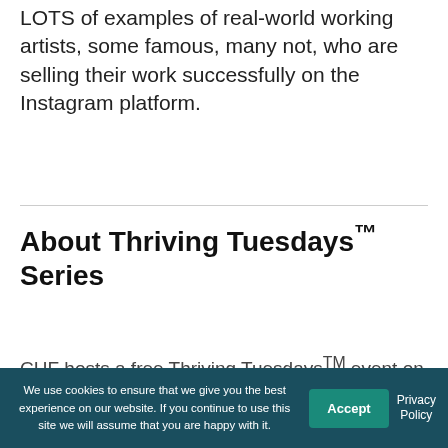LOTS of examples of real-world working artists, some famous, many not, who are selling their work successfully on the Instagram platform.
About Thriving Tuesdays™ Series
CHF hosts a free Thriving Tuesdays™ event on
We use cookies to ensure that we give you the best experience on our website. If you continue to use this site we will assume that you are happy with it.